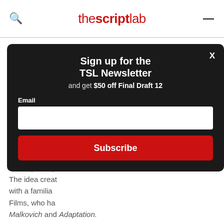the script lab
Eternal S... Spotless ...
Director Mich... Bismuth came ... memories afte... all memories d... with Kaufma... developed a p... The idea creat... with a familia... Films, who ha... Malkovich and Adaptation.
[Figure (screenshot): Modal popup with dark background: 'Sign up for the TSL Newsletter and get $50 off Final Draft 12', Email input field, Subscribe button in red. Close X button top right.]